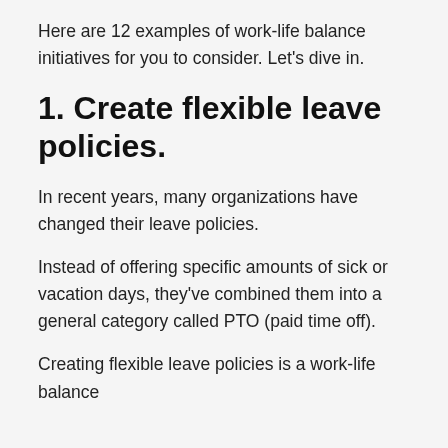Here are 12 examples of work-life balance initiatives for you to consider. Let's dive in.
1. Create flexible leave policies.
In recent years, many organizations have changed their leave policies.
Instead of offering specific amounts of sick or vacation days, they've combined them into a general category called PTO (paid time off).
Creating flexible leave policies is a work-life balance initiative that can improve employees' flexibility.